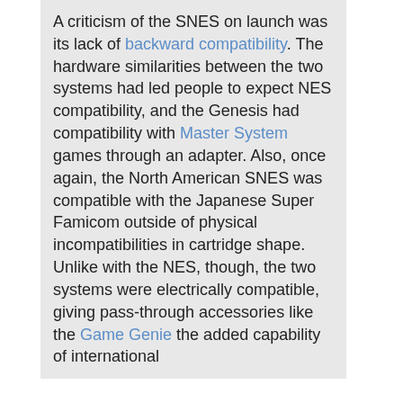A criticism of the SNES on launch was its lack of backward compatibility. The hardware similarities between the two systems had led people to expect NES compatibility, and the Genesis had compatibility with Master System games through an adapter. Also, once again, the North American SNES was compatible with the Japanese Super Famicom outside of physical incompatibilities in cartridge shape. Unlike with the NES, though, the two systems were electrically compatible, giving pass-through accessories like the Game Genie the added capability of international